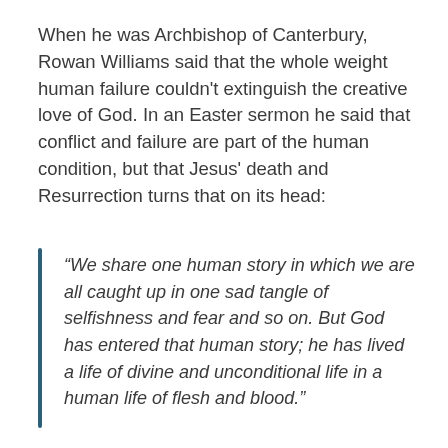When he was Archbishop of Canterbury, Rowan Williams said that the whole weight human failure couldn't extinguish the creative love of God. In an Easter sermon he said that conflict and failure are part of the human condition, but that Jesus' death and Resurrection turns that on its head:
“We share one human story in which we are all caught up in one sad tangle of selfishness and fear and so on. But God has entered that human story; he has lived a life of divine and unconditional life in a human life of flesh and blood.”